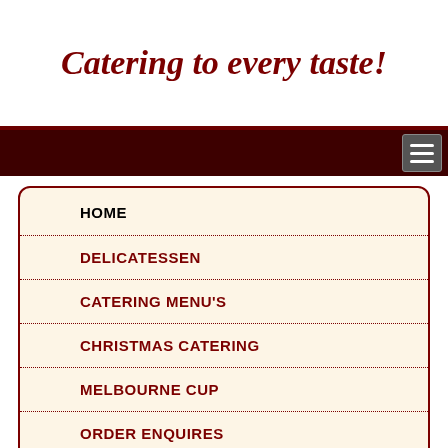Catering to every taste!
HOME
DELICATESSEN
CATERING MENU'S
CHRISTMAS CATERING
MELBOURNE CUP
ORDER ENQUIRES
181 Boundary Steet
WEST END, QLD, 4101 Brisbane
Tel: 07 3844 2937
Fax 07 3846 2805
swiss@swissgourmet.com.au